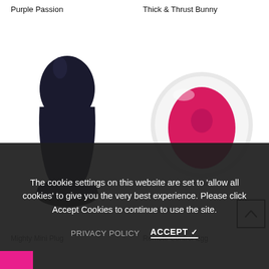Purple Passion
Thick & Thrust Bunny
[Figure (photo): Black silicone anal plug product photo on white background]
[Figure (photo): White oval remote control with hot pink egg-shaped center, product photo on white background]
Mighty Mini Plug
Remote Control Egg
The cookie settings on this website are set to 'allow all cookies' to give you the very best experience. Please click Accept Cookies to continue to use the site.
PRIVACY POLICY
ACCEPT ✓